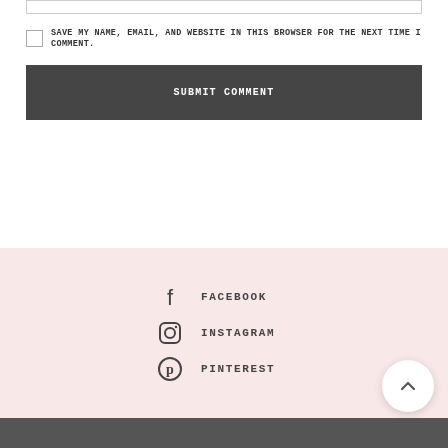SAVE MY NAME, EMAIL, AND WEBSITE IN THIS BROWSER FOR THE NEXT TIME I COMMENT.
SUBMIT COMMENT
FACEBOOK
INSTAGRAM
PINTEREST